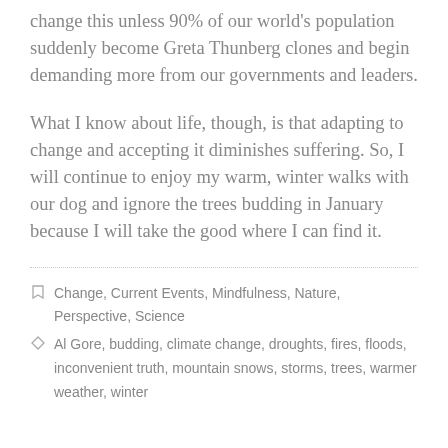change this unless 90% of our world's population suddenly become Greta Thunberg clones and begin demanding more from our governments and leaders.
What I know about life, though, is that adapting to change and accepting it diminishes suffering. So, I will continue to enjoy my warm, winter walks with our dog and ignore the trees budding in January because I will take the good where I can find it.
☐ Change, Current Events, Mindfulness, Nature, Perspective, Science
◇ Al Gore, budding, climate change, droughts, fires, floods, inconvenient truth, mountain snows, storms, trees, warmer weather, winter